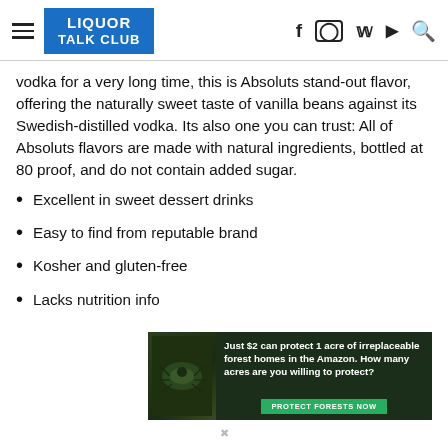LIQUOR TALK CLUB
vodka for a very long time, this is Absoluts stand-out flavor, offering the naturally sweet taste of vanilla beans against its Swedish-distilled vodka. Its also one you can trust: All of Absoluts flavors are made with natural ingredients, bottled at 80 proof, and do not contain added sugar.
Excellent in sweet dessert drinks
Easy to find from reputable brand
Kosher and gluten-free
Lacks nutrition info
[Figure (infographic): Advertisement banner: dark forest background with insect photo, text reads 'Just $2 can protect 1 acre of irreplaceable forest homes in the Amazon. How many acres are you willing to protect?' with a green PROTECT FORESTS NOW button.]